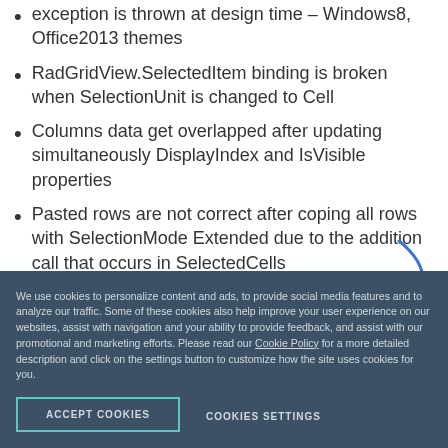exception is thrown at design time – Windows8, Office2013 themes
RadGridView.SelectedItem binding is broken when SelectionUnit is changed to Cell
Columns data get overlapped after updating simultaneously DisplayIndex and IsVisible properties
Pasted rows are not correct after coping all rows with SelectionMode Extended due to the addition call that occurs in SelectedCells
We use cookies to personalize content and ads, to provide social media features and to analyze our traffic. Some of these cookies also help improve your user experience on our websites, assist with navigation and your ability to provide feedback, and assist with our promotional and marketing efforts. Please read our Cookie Policy for a more detailed description and click on the settings button to customize how the site uses cookies for you.
ACCEPT COOKIES
COOKIES SETTINGS